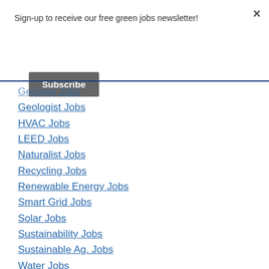Sign-up to receive our free green jobs newsletter!
Subscribe
Geologist Jobs
HVAC Jobs
LEED Jobs
Naturalist Jobs
Recycling Jobs
Renewable Energy Jobs
Smart Grid Jobs
Solar Jobs
Sustainability Jobs
Sustainable Ag. Jobs
Water Jobs
Weatherization Jobs
Wildlife Jobs